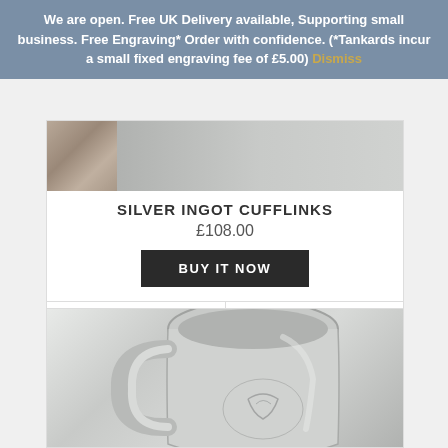We are open. Free UK Delivery available, Supporting small business. Free Engraving* Order with confidence. (*Tankards incur a small fixed engraving fee of £5.00) Dismiss
[Figure (photo): Silver cufflinks product image with wood background]
SILVER INGOT CUFFLINKS
£108.00
BUY IT NOW
DETAILS
SHARE
[Figure (photo): Stainless steel engraved tankard]